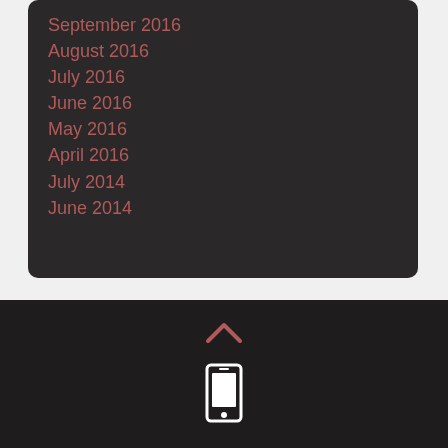September 2016
August 2016
July 2016
June 2016
May 2016
April 2016
July 2014
June 2014
[Figure (illustration): Chevron up arrow icon in muted red/salmon color on dark background]
[Figure (illustration): White smartphone/mobile phone icon on dark background]